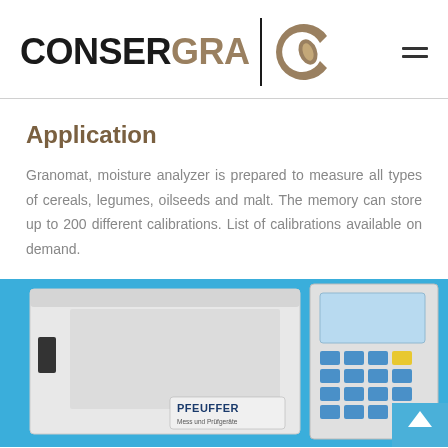[Figure (logo): CONSERGRA logo with stylized C grain icon and vertical divider, plus hamburger menu icon]
Application
Granomat, moisture analyzer is prepared to measure all types of cereals, legumes, oilseeds and malt. The memory can store up to 200 different calibrations. List of calibrations available on demand.
[Figure (photo): Photo of a Pfeuffer Granomat moisture analyzer device — white box instrument with keypad and display, on a blue background, with PFEUFFER Mess und Prüfgeräte label visible]